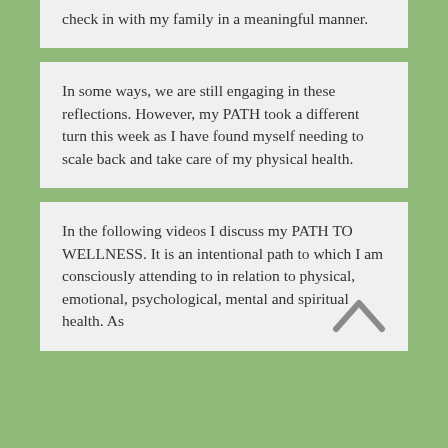check in with my family in a meaningful manner.
In some ways, we are still engaging in these reflections. However, my PATH took a different turn this week as I have found myself needing to scale back and take care of my physical health.
In the following videos I discuss my PATH TO WELLNESS. It is an intentional path to which I am consciously attending to in relation to physical, emotional, psychological, mental and spiritual health. As